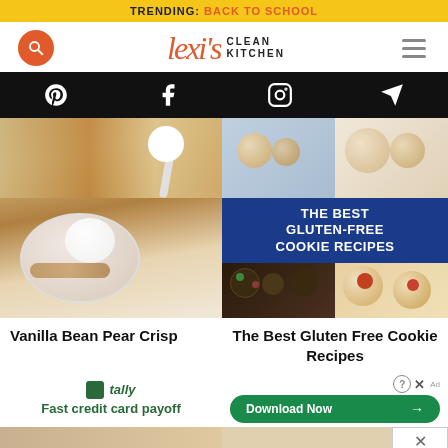TRENDING: BACK TO SCHOOL
[Figure (logo): Lexi's Clean Kitchen logo with search button and hamburger menu]
[Figure (infographic): Social media icons bar: Pinterest, Facebook, Instagram, Direct message]
[Figure (photo): Vanilla Bean Pear Crisp dish photo with bowl of crisp and scoop of cream]
[Figure (photo): The Best Gluten-Free Cookie Recipes collage with blue banner text and cookie photos]
Vanilla Bean Pear Crisp
The Best Gluten Free Cookie Recipes
[Figure (screenshot): Tally advertisement: Fast credit card payoff]
[Figure (screenshot): Download Now advertisement button with help and close icons]